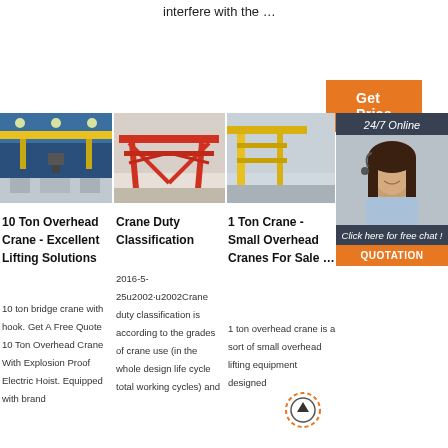interfere with the …
Get Price
[Figure (photo): 10 ton overhead crane in industrial facility with yellow bridge crane]
[Figure (photo): Red gantry crane structure outdoors]
[Figure (photo): Yellow gantry crane outdoors]
[Figure (infographic): 24/7 Online chat sidebar ad with woman agent and QUOTATION button]
10 Ton Overhead Crane - Excellent Lifting Solutions
10 ton bridge crane with hook. Get A Free Quote 10 Ton Overhead Crane With Explosion Proof Electric Hoist. Equipped with brand
Crane Duty Classification
2016-5-25u2002·u2002Crane duty classification is according to the grades of crane use (in the whole design life cycle total working cycles) and
1 Ton Crane - Small Overhead Cranes For Sale …
1 ton overhead crane is a sort of small overhead lifting equipment designed